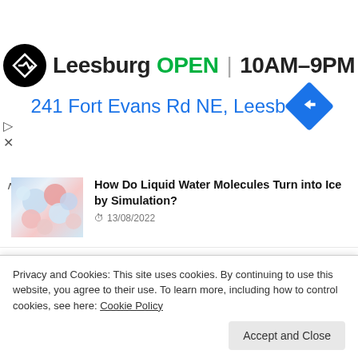[Figure (screenshot): Advertisement banner for a store in Leesburg showing it is OPEN 10AM-9PM at 241 Fort Evans Rd NE, Leesburg with logo and navigation icon]
How Do Liquid Water Molecules Turn into Ice by Simulation? 13/08/2022
Artificial Muscles Made of Single Helical Wool Yarn 09/08/2022
A Strange New State of Matter and Two-
Privacy and Cookies: This site uses cookies. By continuing to use this website, you agree to their use. To learn more, including how to control cookies, see here: Cookie Policy
Accept and Close